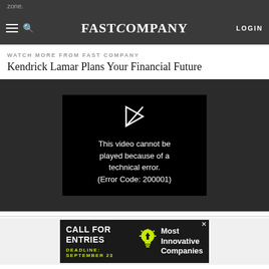zone.
FAST COMPANY   LOGIN
WATCH MORE FROM FAST COMPANY
Kendrick Lamar Plans Your Financial Future
[Figure (screenshot): Video player showing error message: This video cannot be played because of a technical error. (Error Code: 200001)]
[Figure (screenshot): Advertisement banner: CALL FOR ENTRIES, DEADLINE: SEPTEMBER 23, Most Innovative Companies]